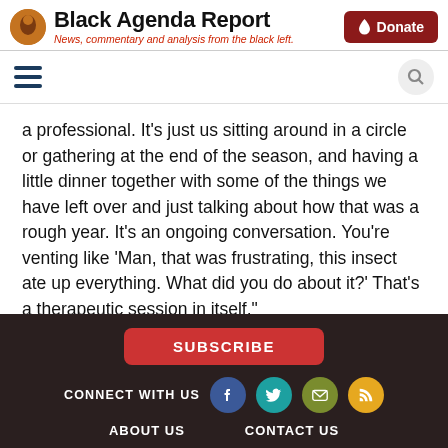Black Agenda Report — News, commentary and analysis from the black left.
a professional. It’s just us sitting around in a circle or gathering at the end of the season, and having a little dinner together with some of the things we have left over and just talking about how that was a rough year. It’s an ongoing conversation. You’re venting like ‘Man, that was frustrating, this insect ate up everything. What did you do about it?’ That’s a therapeutic session in itself.”
Still, traditional talk therapy keeps him “in touch with reality and it’s helped me grow as a man. … Sometimes you have
SUBSCRIBE | CONNECT WITH US | ABOUT US | CONTACT US